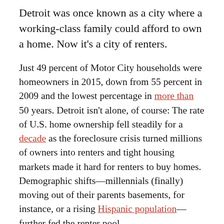Detroit was once known as a city where a working-class family could afford to own a home. Now it's a city of renters.
Just 49 percent of Motor City households were homeowners in 2015, down from 55 percent in 2009 and the lowest percentage in more than 50 years. Detroit isn't alone, of course: The rate of U.S. home ownership fell steadily for a decade as the foreclosure crisis turned millions of owners into renters and tight housing markets made it hard for renters to buy homes. Demographic shifts—millennials (finally) moving out of their parents basements, for instance, or a rising Hispanic population—further fed the renter pool.
Fifty-two of the 100 largest U.S. cities were majority-